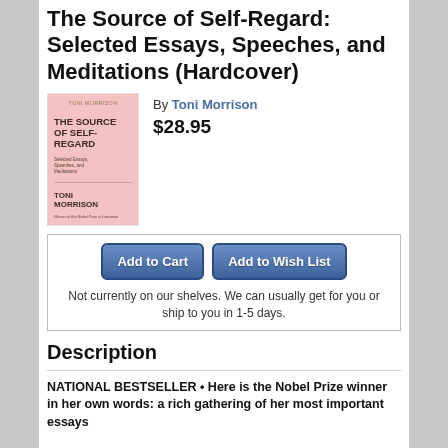The Source of Self-Regard: Selected Essays, Speeches, and Meditations (Hardcover)
[Figure (illustration): Pink book cover of 'The Source of Self-Regard' by Toni Morrison, showing title in dark serif font on pink background with author name and Nobel Prize mention]
By Toni Morrison
$28.95
Add to Cart
Add to Wish List
Not currently on our shelves. We can usually get for you or ship to you in 1-5 days.
Description
NATIONAL BESTSELLER • Here is the Nobel Prize winner in her own words: a rich gathering of her most important essays